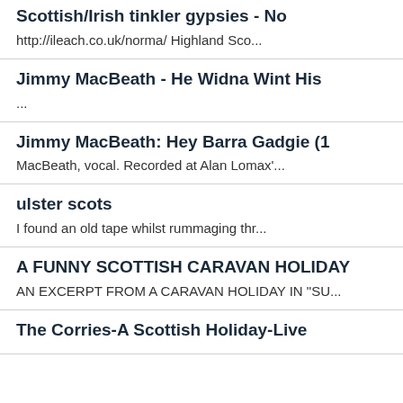Scottish/Irish tinkler gypsies - No
http://ileach.co.uk/norma/ Highland Sco...
Jimmy MacBeath - He Widna Wint His
...
Jimmy MacBeath: Hey Barra Gadgie (1
MacBeath, vocal. Recorded at Alan Lomax'...
ulster scots
I found an old tape whilst rummaging thr...
A FUNNY SCOTTISH CARAVAN HOLIDAY
AN EXCERPT FROM A CARAVAN HOLIDAY IN "SU...
The Corries-A Scottish Holiday-Live